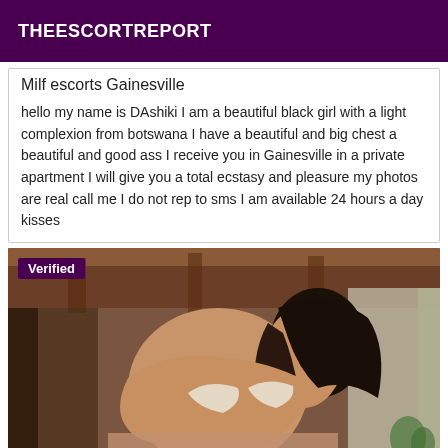THEESCORTREPORT
Milf escorts Gainesville
hello my name is DAshiki I am a beautiful black girl with a light complexion from botswana I have a beautiful and big chest a beautiful and good ass I receive you in Gainesville in a private apartment I will give you a total ecstasy and pleasure my photos are real call me I do not rep to sms I am available 24 hours a day kisses
[Figure (photo): Photo of a woman with dark hair, back facing camera, indoors, with a 'Verified' badge overlay in top-left corner]